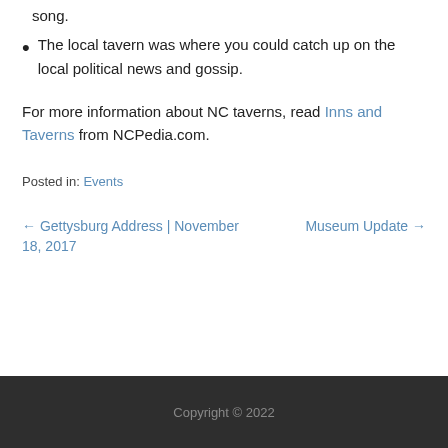song.
The local tavern was where you could catch up on the local political news and gossip.
For more information about NC taverns, read Inns and Taverns from NCPedia.com.
Posted in: Events
← Gettysburg Address | November 18, 2017
Museum Update →
Copyright © 2022